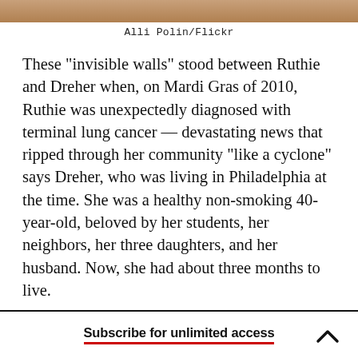[Figure (photo): Partial photo strip visible at top of page — warm brownish tones]
Alli Polin/Flickr
These "invisible walls" stood between Ruthie and Dreher when, on Mardi Gras of 2010, Ruthie was unexpectedly diagnosed with terminal lung cancer — devastating news that ripped through her community "like a cyclone" says Dreher, who was living in Philadelphia at the time. She was a healthy non-smoking 40-year-old, beloved by her students, her neighbors, her three daughters, and her husband. Now, she had about three months to live.
Subscribe for unlimited access